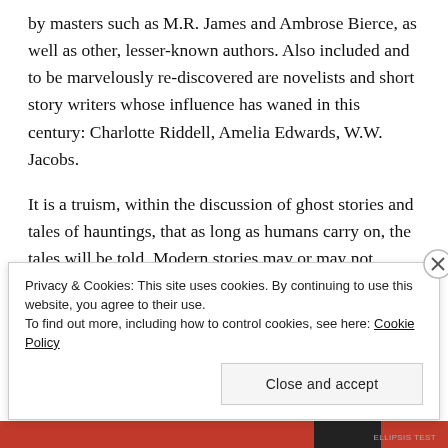by masters such as M.R. James and Ambrose Bierce, as well as other, lesser-known authors. Also included and to be marvelously re-discovered are novelists and short story writers whose influence has waned in this century: Charlotte Riddell, Amelia Edwards, W.W. Jacobs.
It is a truism, within the discussion of ghost stories and tales of hauntings, that as long as humans carry on, the tales will be told. Modern stories may or may not reference or allude to histories that have settled within the collective or individual consciousness, but they do
Privacy & Cookies: This site uses cookies. By continuing to use this website, you agree to their use.
To find out more, including how to control cookies, see here: Cookie Policy
Close and accept